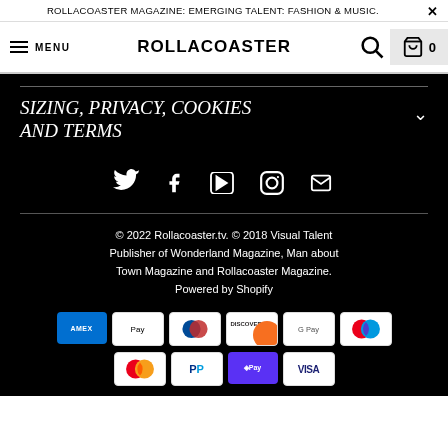ROLLACOASTER MAGAZINE: EMERGING TALENT: FASHION & MUSIC. ×
MENU ROLLACOASTER 0
SIZING, PRIVACY, COOKIES AND TERMS
[Figure (infographic): Social media icons: Twitter, Facebook, YouTube, Instagram, Email]
© 2022 Rollacoaster.tv. © 2018 Visual Talent Publisher of Wonderland Magazine, Man about Town Magazine and Rollacoaster Magazine. Powered by Shopify
[Figure (infographic): Payment method icons: American Express, Apple Pay, Diners Club, Discover, Google Pay, Maestro, Mastercard, PayPal, Shop Pay, Visa]